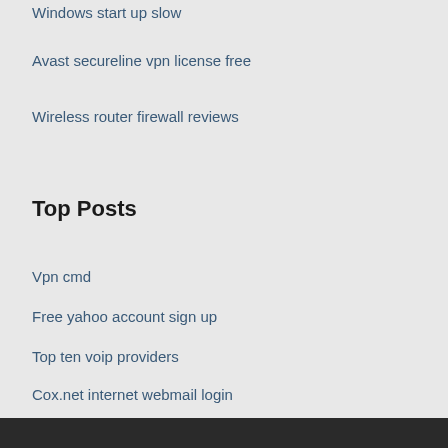Windows start up slow
Avast secureline vpn license free
Wireless router firewall reviews
Top Posts
Vpn cmd
Free yahoo account sign up
Top ten voip providers
Cox.net internet webmail login
Best nsa apps